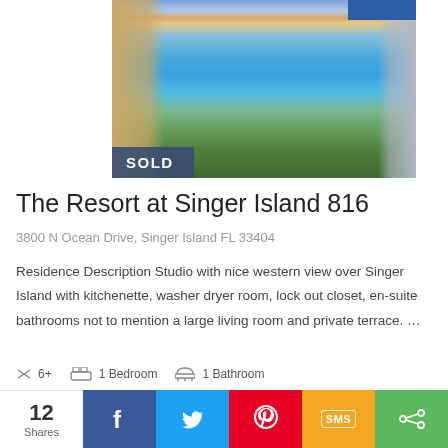[Figure (photo): Aerial/elevated view of a beach resort property with ocean, sandy beach, palm trees, and buildings on either side. Sunset sky with pink and purple clouds. A 'SOLD' banner overlay in the lower left corner.]
The Resort at Singer Island 816
3800 N Ocean Drive, Singer Island FL 33404
Residence Description Studio with nice western view over Singer Island with kitchenette, washer dryer room, lock out closet, en-suite bathrooms not to mention a large living room and private terrace. …
6+  1 Bedroom  1 Bathroom
12 Shares